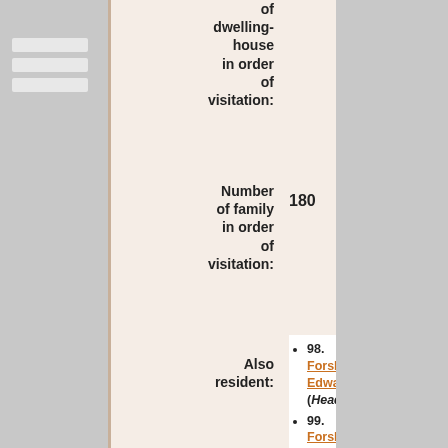of dwelling-house in order of visitation:
Number of family in order of visitation: 180
Also resident:
98. Forsberg, Edward (Head H)
99. Forsberg, [Sophi] (Wife wf)
100. Forsberg, Edward (Son)